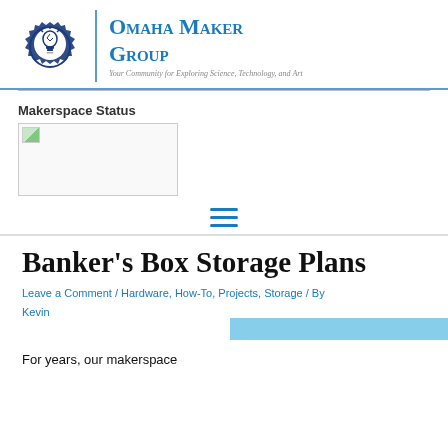[Figure (logo): Omaha Maker Group logo: gear with lightbulb icon, vertical blue divider line, organization name in blue small-caps, tagline in italic gray]
[Figure (other): Makerspace Status image (broken/unavailable image placeholder)]
Makerspace Status
Banker's Box Storage Plans
Leave a Comment / Hardware, How-To, Projects, Storage / By Kevin
[Figure (other): Light blue horizontal bar (featured image placeholder)]
For years, our makerspace